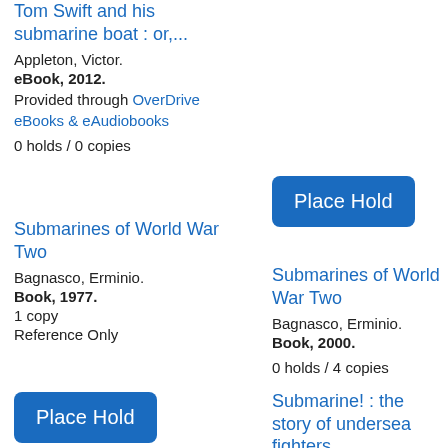Tom Swift and his submarine boat : or,...
Appleton, Victor.
eBook, 2012.
Provided through OverDrive eBooks & eAudiobooks
0 holds / 0 copies
Submarines of World War Two
Bagnasco, Erminio.
Book, 1977.
1 copy
Reference Only
[Figure (other): Place Hold button (right column)]
Submarines of World War Two
Bagnasco, Erminio.
Book, 2000.
0 holds / 4 copies
[Figure (other): Place Hold button (left column)]
Submarine! : the story of undersea fighters
Banning, Kendall, 1879-1944.